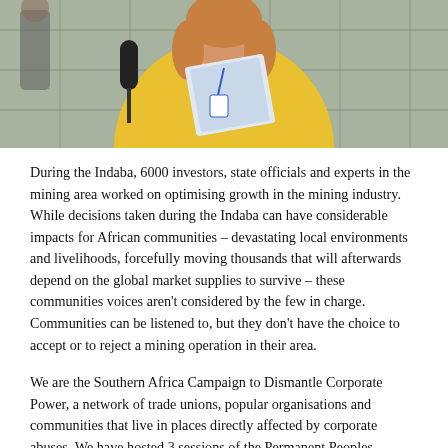[Figure (photo): A woman in a yellow jacket holding papers or a magazine, being interviewed with a microphone held toward her. A wire fence is visible in the background.]
During the Indaba, 6000 investors, state officials and experts in the mining area worked on optimising growth in the mining industry. While decisions taken during the Indaba can have considerable impacts for African communities – devastating local environments and livelihoods, forcefully moving thousands that will afterwards depend on the global market supplies to survive – these communities voices aren't considered by the few in charge. Communities can be listened to, but they don't have the choice to accept or to reject a mining operation in their area.
We are the Southern Africa Campaign to Dismantle Corporate Power, a network of trade unions, popular organisations and communities that live in places directly affected by corporate abuses. We have hosted 3 sessions of the Permanent Peoples Tribunal on